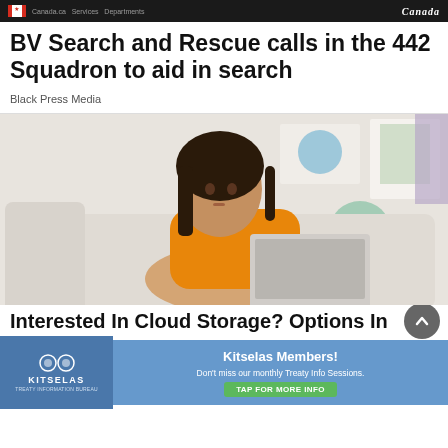Canada
BV Search and Rescue calls in the 442 Squadron to aid in search
Black Press Media
[Figure (photo): Woman with dark hair wearing orange jacket sitting on white sofa with laptop, colorful abstract art on wall behind her]
Interested In Cloud Storage? Options In
[Figure (other): Kitselas advertisement banner: Kitselas Members! Don't miss our monthly Treaty Info Sessions. TAP FOR MORE INFO]